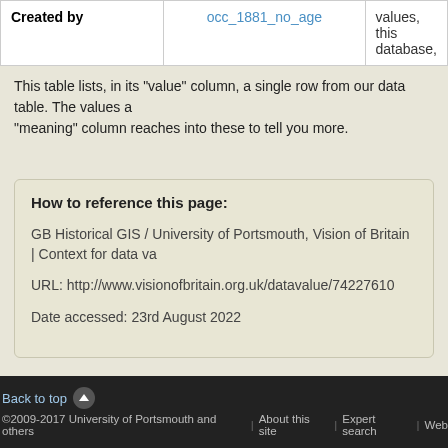| Created by | occ_1881_no_age | values, this database, |
| --- | --- | --- |
| Created by | occ_1881_no_age | values, this database, |
This table lists, in its "value" column, a single row from our data table. The values a "meaning" column reaches into these to tell you more.
How to reference this page:
GB Historical GIS / University of Portsmouth, Vision of Britain | Context for data va
URL: http://www.visionofbritain.org.uk/datavalue/74227610
Date accessed: 23rd August 2022
Back to top ©2009-2017 University of Portsmouth and others | About this site | Expert search | Web